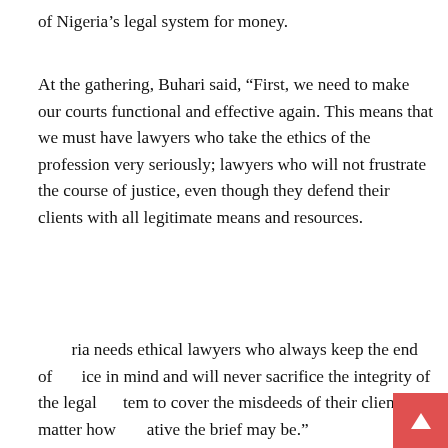of Nigeria's legal system for money.
At the gathering, Buhari said, “First, we need to make our courts functional and effective again. This means that we must have lawyers who take the ethics of the profession very seriously; lawyers who will not frustrate the course of justice, even though they defend their clients with all legitimate means and resources.
Nigeria needs ethical lawyers who always keep the end of justice in mind and will never sacrifice the integrity of the legal system to cover the misdeeds of their clients, no matter how lucrative the brief may be.”
However, in his reaction, the Executive Chairman of the Coalition Against Corrupt Leaders, Debo Adeniran, urged Buhari to do more than appeal to the lawyers’ moral